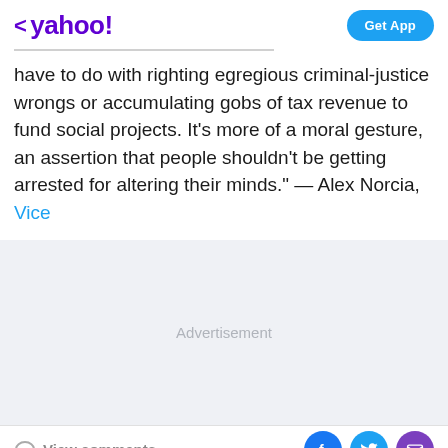< yahoo! | Get App
have to do with righting egregious criminal-justice wrongs or accumulating gobs of tax revenue to fund social projects. It’s more of a moral gesture, an assertion that people shouldn’t be getting arrested for altering their minds.” — Alex Norcia, Vice
[Figure (other): Advertisement placeholder area with light gray background]
View comments | Facebook share | Twitter share | Email share